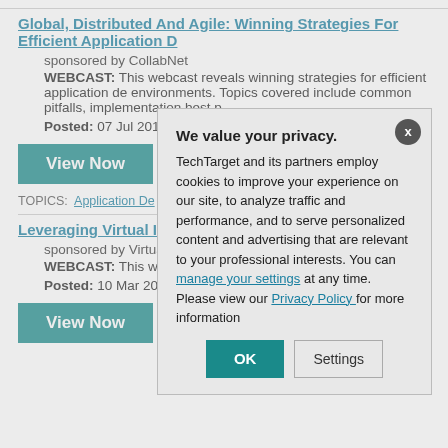Global, Distributed And Agile: Winning Strategies For Efficient Application D...
sponsored by CollabNet
WEBCAST: This webcast reveals winning strategies for efficient application de environments. Topics covered include common pitfalls, implementation best p...
Posted: 07 Jul 2011 | Premiered: Jul 7, 2011
View Now
TOPICS: Application De... Collaborative Product De...
Leveraging Virtual Iro...
sponsored by Virtua...
WEBCAST: This we... behind server virtual... also be discussed.
Posted: 10 Mar 200...
View Now
We value your privacy. TechTarget and its partners employ cookies to improve your experience on our site, to analyze traffic and performance, and to serve personalized content and advertising that are relevant to your professional interests. You can manage your settings at any time. Please view our Privacy Policy for more information